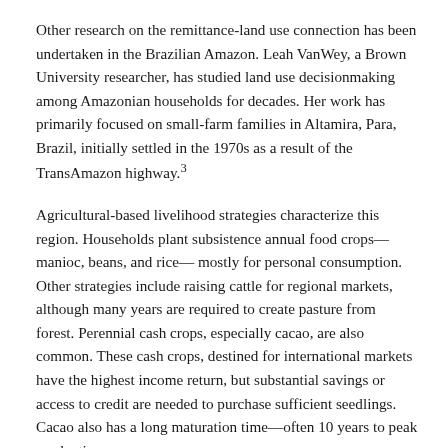Other research on the remittance-land use connection has been undertaken in the Brazilian Amazon. Leah VanWey, a Brown University researcher, has studied land use decisionmaking among Amazonian households for decades. Her work has primarily focused on small-farm families in Altamira, Para, Brazil, initially settled in the 1970s as a result of the TransAmazon highway.³
Agricultural-based livelihood strategies characterize this region. Households plant subsistence annual food crops—manioc, beans, and rice— mostly for personal consumption. Other strategies include raising cattle for regional markets, although many years are required to create pasture from forest. Perennial cash crops, especially cacao, are also common. These cash crops, destined for international markets have the highest income return, but substantial savings or access to credit are needed to purchase sufficient seedlings. Cacao also has a long maturation time—often 10 years to peak production.